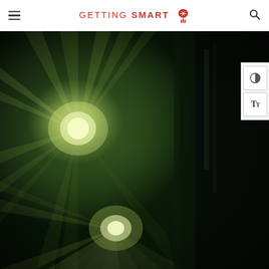GETTING SMART
[Figure (photo): Dark atmospheric photo of bright stage/concert lights casting rays through a hazy environment, with a silhouetted figure visible on the right side. Green and white light rays radiate dramatically from multiple light sources.]